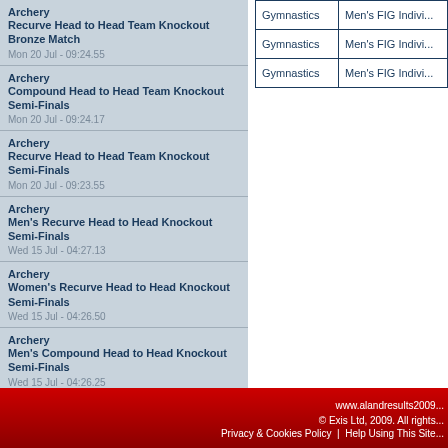Archery
Recurve Head to Head Team Knockout Bronze Match
Mon 20 Jul - 09:24.55
Archery
Compound Head to Head Team Knockout Semi-Finals
Mon 20 Jul - 09:24.17
Archery
Recurve Head to Head Team Knockout Semi-Finals
Mon 20 Jul - 09:23.55
Archery
Men's Recurve Head to Head Knockout Semi-Finals
Wed 15 Jul - 04:27.13
Archery
Women's Recurve Head to Head Knockout Semi-Finals
Wed 15 Jul - 04:26.50
Archery
Men's Compound Head to Head Knockout Semi-Finals
Wed 15 Jul - 04:26.25
| Sport | Event |
| --- | --- |
| Gymnastics | Men's FIG Indivi... |
| Gymnastics | Men's FIG Indivi... |
| Gymnastics | Men's FIG Indivi... |
www.alandresults2009... © Exis Ltd, 2009. All rights... Privacy & Cookies Policy | Help Using This Site...